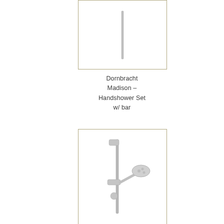[Figure (photo): Product image of Dornbracht Madison Handshower Set w/ bar - top view showing vertical bar element, in a bordered box]
Dornbracht Madison – Handshower Set w/ bar
[Figure (photo): Product image of Dornbracht Madison Handshower Set w/ bar - showing handshower with slide bar and wall bracket, chrome finish]